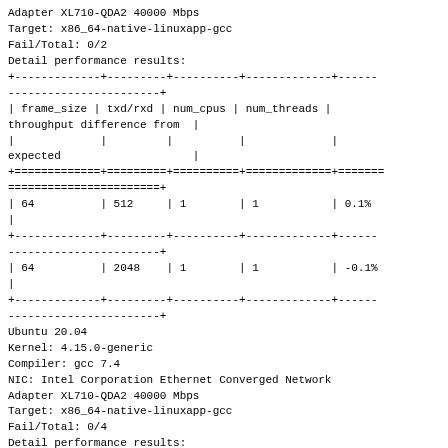Adapter XL710-QDA2 40000 Mbps
Target: x86_64-native-linuxapp-gcc
Fail/Total: 0/2
Detail performance results:
| frame_size | txd/rxd | num_cpus | num_threads | throughput difference from expected |
| --- | --- | --- | --- | --- |
| 64 | 512 | 1 | 1 | 0.1% |
| 64 | 2048 | 1 | 1 | -0.1% |
Ubuntu 20.04
Kernel: 4.15.0-generic
Compiler: gcc 7.4
NIC: Intel Corporation Ethernet Converged Network Adapter XL710-QDA2 40000 Mbps
Target: x86_64-native-linuxapp-gcc
Fail/Total: 0/4
Detail performance results: